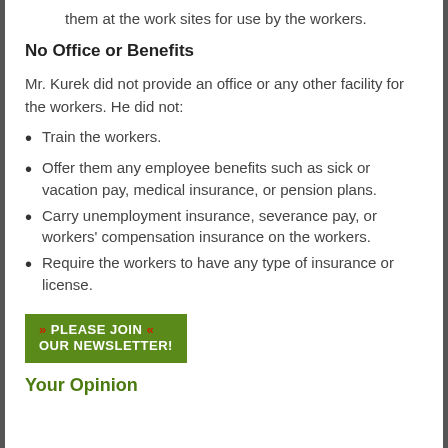them at the work sites for use by the workers.
No Office or Benefits
Mr. Kurek did not provide an office or any other facility for the workers. He did not:
Train the workers.
Offer them any employee benefits such as sick or vacation pay, medical insurance, or pension plans.
Carry unemployment insurance, severance pay, or workers' compensation insurance on the workers.
Require the workers to have any type of insurance or license.
[Figure (other): Green button with red arrows reading PLEASE JOIN OUR NEWSLETTER!]
Your Opinion